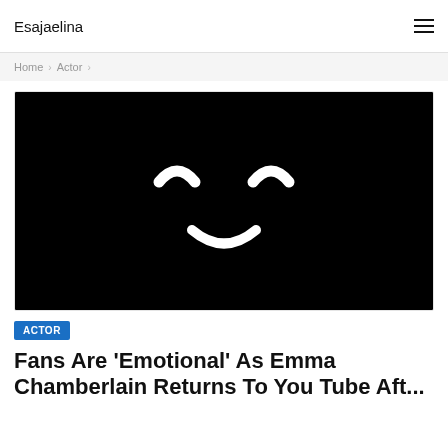Esajaelina
Home › Actor ›
[Figure (illustration): Black background with white smiley face icon — two curved eyebrows and a curved smile, resembling a simple emoji face]
ACTOR
Fans Are 'Emotional' As Emma Chamberlain Returns To You Tube Aft...